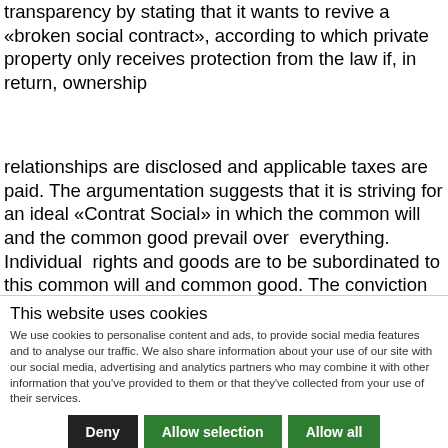transparency by stating that it wants to revive a «broken social contract», according to which private property only receives protection from the law if, in return, ownership
relationships are disclosed and applicable taxes are paid. The argumentation suggests that it is striving for an ideal «Contrat Social» in which the common will and the common good prevail over everything. Individual rights and goods are to be subordinated to this common will and common good. The conviction seems to be that inequality of property becomes
This website uses cookies
We use cookies to personalise content and ads, to provide social media features and to analyse our traffic. We also share information about your use of our site with our social media, advertising and analytics partners who may combine it with other information that you've provided to them or that they've collected from your use of their services.
Deny | Allow selection | Allow all
Necessary (checked) | Preferences (checked) | Statistics (unchecked) | Marketing (unchecked) | Show details